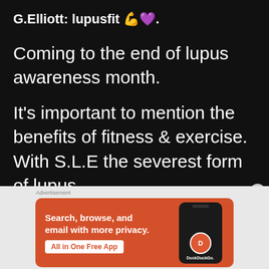G.Elliott: lupusfit 💪💜.
Coming to the end of lupus awareness month.
It's important to mention the benefits of fitness & exercise. With S.L.E the severest form of lupus.
[Figure (screenshot): DuckDuckGo advertisement banner with orange background. Text: 'Search, browse, and email with more privacy. All in One Free App' with a phone mockup showing DuckDuckGo logo.]